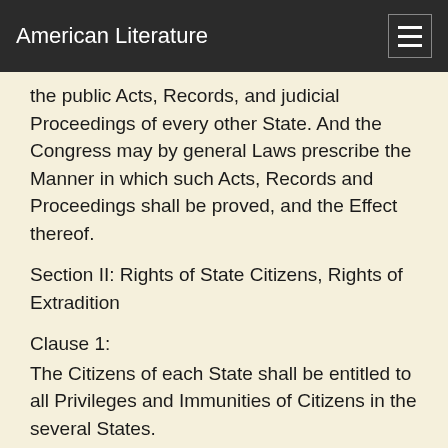American Literature
the public Acts, Records, and judicial Proceedings of every other State. And the Congress may by general Laws prescribe the Manner in which such Acts, Records and Proceedings shall be proved, and the Effect thereof.
Section II: Rights of State Citizens, Rights of Extradition
Clause 1:
The Citizens of each State shall be entitled to all Privileges and Immunities of Citizens in the several States.
Clause 2: